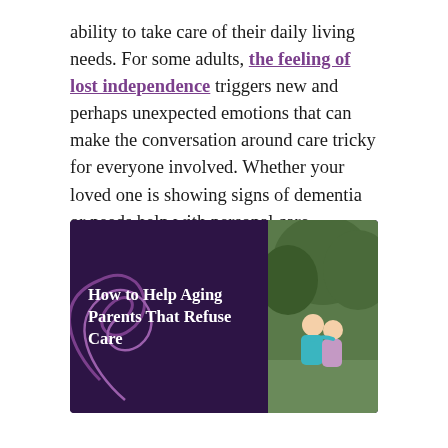ability to take care of their daily living needs. For some adults, the feeling of lost independence triggers new and perhaps unexpected emotions that can make the conversation around care tricky for everyone involved. Whether your loved one is showing signs of dementia or needs help with personal care, admitting these things can be tough for everyone involved.
[Figure (illustration): Dark purple banner image with decorative swirl lines and bold white text reading 'How to Help Aging Parents That Refuse Care', with a photo of two women hugging outdoors on the right side.]
At Daystar Retirement Village in West Seattle, we have walked this path with many clients and their families. Every person has a unique profile of needs and skills, but many